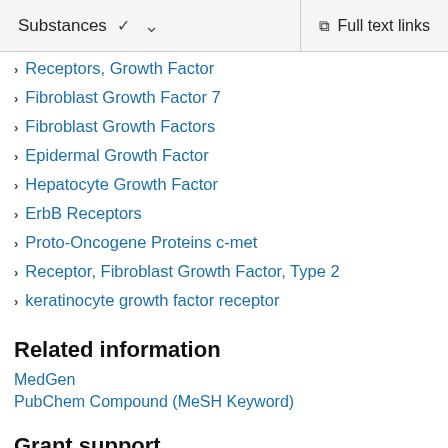Substances   Full text links
Receptors, Growth Factor
Fibroblast Growth Factor 7
Fibroblast Growth Factors
Epidermal Growth Factor
Hepatocyte Growth Factor
ErbB Receptors
Proto-Oncogene Proteins c-met
Receptor, Fibroblast Growth Factor, Type 2
keratinocyte growth factor receptor
Related information
MedGen
PubChem Compound (MeSH Keyword)
Grant support